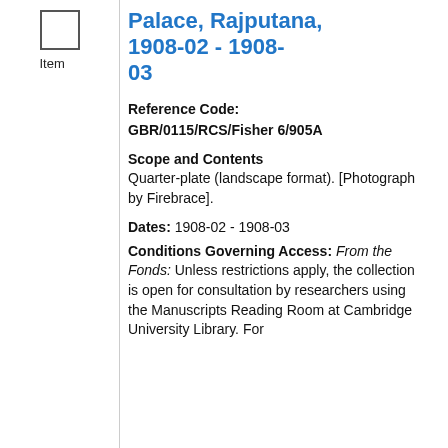[Figure (other): Checkbox icon above the label 'Item']
Palace, Rajputana, 1908-02 - 1908-03
Reference Code: GBR/0115/RCS/Fisher 6/905A
Scope and Contents
Quarter-plate (landscape format). [Photograph by Firebrace].
Dates: 1908-02 - 1908-03
Conditions Governing Access: From the Fonds: Unless restrictions apply, the collection is open for consultation by researchers using the Manuscripts Reading Room at Cambridge University Library. For